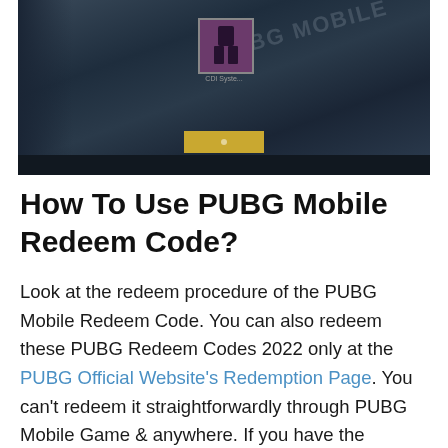[Figure (screenshot): PUBG Mobile game screenshot showing a character selection or lobby screen with a dark blue-grey background, a character icon in the center top, a yellow button in the lower center, and a dark strip at the bottom. The PUBG Mobile watermark text appears faintly on the right side.]
How To Use PUBG Mobile Redeem Code?
Look at the redeem procedure of the PUBG Mobile Redeem Code. You can also redeem these PUBG Redeem Codes 2022 only at the PUBG Official Website's Redemption Page. You can't redeem it straightforwardly through PUBG Mobile Game & anywhere. If you have the